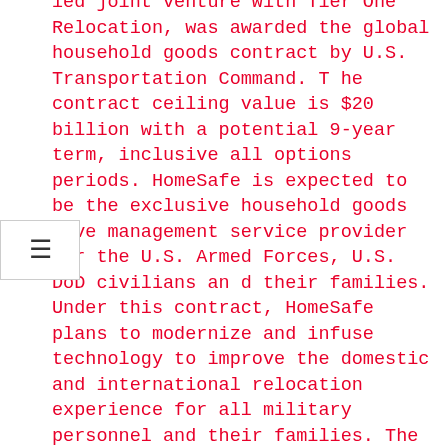led joint venture with Tier One Relocation, was awarded the global household goods contract by U.S. Transportation Command. The contract ceiling value is $20 billion with a potential 9-year term, inclusive all options periods. HomeSafe is expected to be the exclusive household goods move management service provider for the U.S. Armed Forces, U.S. DoD civilians and their families. Under this contract, HomeSafe plans to modernize and infuse technology to improve the domestic and international relocation experience for all military personnel and their families. The award of this program is being protested by the non-prevailing parties at the Court of Federal Claims and the transition has been placed on hold.